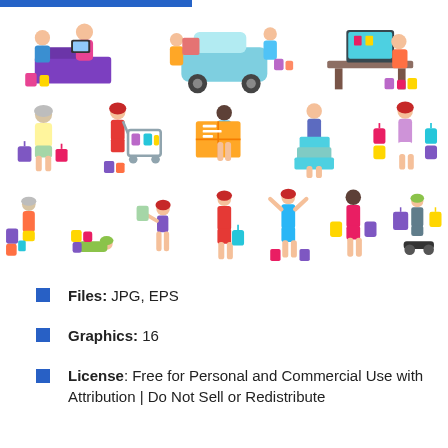[Figure (illustration): Collection of cartoon shopping illustrations showing people at checkout, loading car, online shopping, elderly shopper with bags, woman with shopping cart, person carrying large package, man with stacked packages, woman with shopping bags (row 1 and 2), plus various shoppers with bags including children, women taking selfies, person on hoverboard (row 3)]
Files: JPG, EPS
Graphics: 16
License: Free for Personal and Commercial Use with Attribution | Do Not Sell or Redistribute